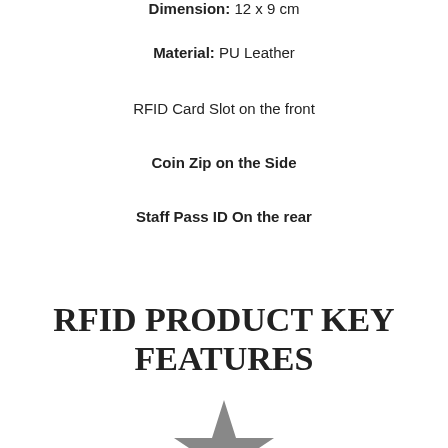Dimension: 12 x 9 cm
Material: PU Leather
RFID Card Slot on the front
Coin Zip on the Side
Staff Pass ID On the rear
RFID PRODUCT KEY FEATURES
[Figure (illustration): Partial star icon at the bottom of the page, grey colored]